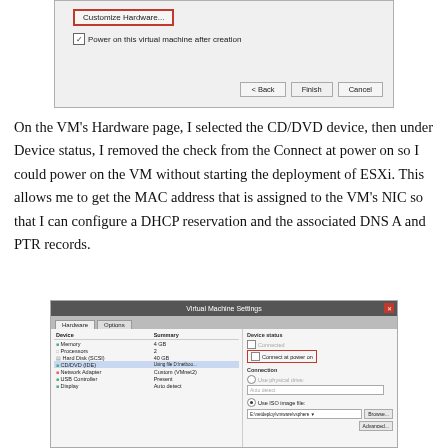[Figure (screenshot): VMware virtual machine creation wizard dialog showing 'Customize Hardware...' button (outlined in red), a checked 'Power on this virtual machine after creation' checkbox, and Back, Finish, Cancel buttons.]
On the VM’s Hardware page, I selected the CD/DVD device, then under Device status, I removed the check from the Connect at power on so I could power on the VM without starting the deployment of ESXi. This allows me to get the MAC address that is assigned to the VM’s NIC so that I can configure a DHCP reservation and the associated DNS A and PTR records.
[Figure (screenshot): VMware Virtual Machine Settings dialog showing Hardware and Options tabs. The hardware list shows Memory, Processors, Hard Disk, CD/DVD (IDE), Network Adapter, USB Controller, Display. The right panel shows Device status with Connected unchecked and 'Connect at power on' outlined in red (unchecked). Connection section shows Use ISO image file option selected with a file path field and Browse button, plus Advanced button.]